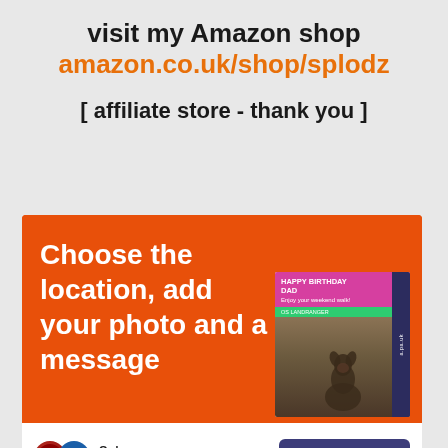visit my Amazon shop
amazon.co.uk/shop/splodz
[ affiliate store - thank you ]
[Figure (illustration): Orange advertisement card for Ordnance Survey personalised map showing 'Choose the location, add your photo and a message' with a book cover image depicting a birthday OS map, Ordnance Survey logo, and a 'Buy now' button.]